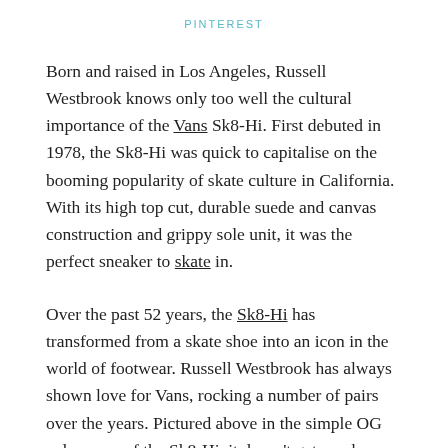PINTEREST
Born and raised in Los Angeles, Russell Westbrook knows only too well the cultural importance of the Vans Sk8-Hi. First debuted in 1978, the Sk8-Hi was quick to capitalise on the booming popularity of skate culture in California. With its high top cut, durable suede and canvas construction and grippy sole unit, it was the perfect sneaker to skate in.
Over the past 52 years, the Sk8-Hi has transformed from a skate shoe into an icon in the world of footwear. Russell Westbrook has always shown love for Vans, rocking a number of pairs over the years. Pictured above in the simple OG colourway of the Sk8-Hi, it doesn't get much simpler than this. Whilst you may be wondering, why is a Jordan Brand athlete wearing Vans? It doesn't matter.